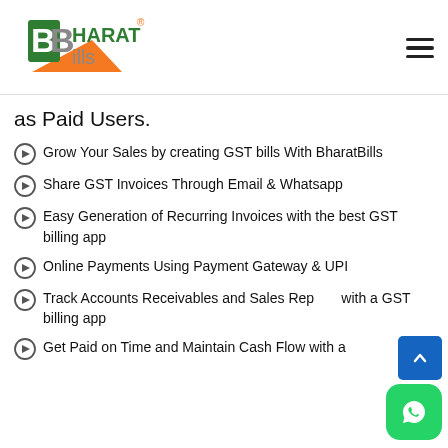[Figure (logo): BharatBills logo with orange and green colors, B icon and BHARAT Bills text with registered trademark symbol]
as Paid Users.
Grow Your Sales by creating GST bills With BharatBills
Share GST Invoices Through Email & Whatsapp
Easy Generation of Recurring Invoices with the best GST billing app
Online Payments Using Payment Gateway & UPI
Track Accounts Receivables and Sales Rep with a GST billing app
Get Paid on Time and Maintain Cash Flow with a